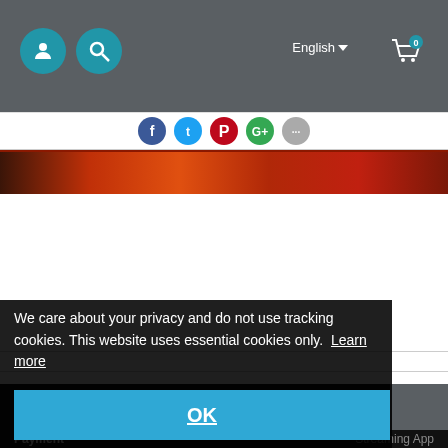English ▾  [user icon] [search icon] [cart icon with 0]
[Figure (screenshot): Row of social media share buttons: Facebook (dark blue), Twitter (light blue), Pinterest (red), Google+ (green), and a grey button]
[Figure (photo): Dark reddish-orange banner image strip]
[Figure (screenshot): Website content area with white background, partially visible footer links in dark background including: About Us, Help - Download, Affiliate MRA (become a), FAQ - Download, About Press, Streaming App, Payment]
We care about your privacy and do not use tracking cookies. This website uses essential cookies only.  Learn more
OK
Payment    Streaming App